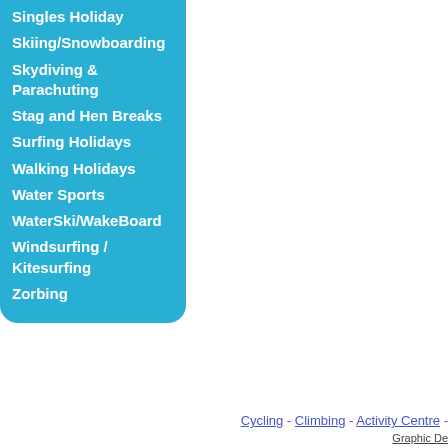Singles Holiday
Skiing/Snowboarding
Skydiving & Parachuting
Stag and Hen Breaks
Surfing Holidays
Walking Holidays
Water Sports
WaterSki/WakeBoard
Windsurfing / Kitesurfing
Zorbing
Cycling - Climbing - Activity Centre -
Graphic De